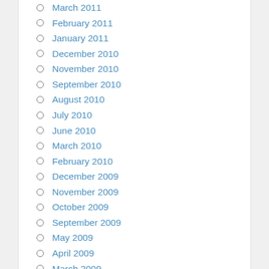March 2011
February 2011
January 2011
December 2010
November 2010
September 2010
August 2010
July 2010
June 2010
March 2010
February 2010
December 2009
November 2009
October 2009
September 2009
May 2009
April 2009
March 2009
December 2008
November 2008